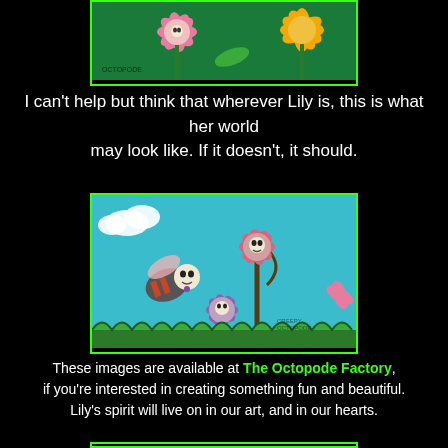[Figure (illustration): Colorful mural artwork showing skull-faced flowers (pink and orange/yellow) with green leaves on a background, with creepy cute art style. Artist watermark visible.]
I can't help but think that wherever Lily is, this is what her world
may look like. If it doesn't, it should.
[Figure (illustration): Colorful mural artwork on teal/turquoise background showing skull-faced flowers (pink and purple) and a skull-faced bee, with grass at bottom and clouds. Creepy cute art style with 'CREEPY OCTOPODE' watermark.]
These images are available at The Octopode Factory, if you're interested in creating something fun and beautiful. Lily's spirit will live on in our art, and in our hearts.